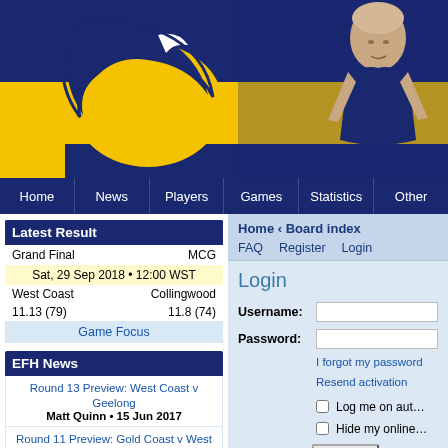[Figure (screenshot): West Coast Eagles website banner with navy blue and yellow color scheme, eagle logo on left, player photo on right]
Home | News | Players | Games | Statistics | Other
Latest Result
Grand Final   MCG
Sat, 29 Sep 2018 • 12:00 WST
West Coast   Collingwood
11.13 (79)   11.8 (74)
Game Focus
EFH News
Round 13 Preview: West Coast v Geelong
Matt Quinn • 15 Jun 2017
Round 11 Preview: Gold Coast v West Coast
Matt Quinn • 02 Jun 2017
Round 9 Preview: Essendon Hate Week 2017
Matt Quinn • 20 May 2017
Round 8 Preview: West Coast v The Dogs
Matt Quinn • 11 May 2017
Home › Board index
FAQ   Register   Login
Login
Username:
Password:
I forgot my password
Resend activation
Log me on automatically
Hide my online status
Login
REGISTER